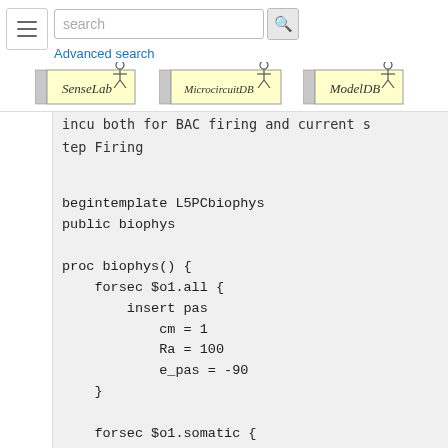search [search bar] Advanced search
[Figure (logo): SenseLab logo with SENSELAB vertical text and stick figure]
[Figure (logo): MicrocircuitDB logo with SENSELAB vertical text and stick figure]
[Figure (logo): ModelDB logo with SENSELAB vertical text and stick figure]
incu both for BAC firing and current step Firing
begintemplate L5PCbiophys
public biophys

proc biophys() {
    forsec $o1.all {
        insert pas
            cm = 1
            Ra = 100
            e_pas = -90
    }

    forsec $o1.somatic {
        insert Ca_LVAst
        insert Ca_HVA
        insert SKv3_1
        insert SK_E2